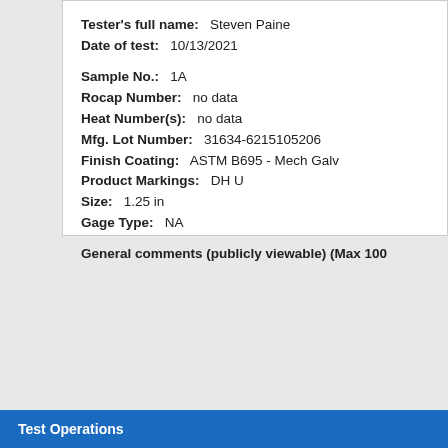Tester's full name: Steven Paine
Date of test: 10/13/2021
Sample No.: 1A
Rocap Number: no data
Heat Number(s): no data
Mfg. Lot Number: 31634-6215105206
Finish Coating: ASTM B695 - Mech Galv
Product Markings: DH U
Size: 1.25 in
Gage Type: NA
General comments (publicly viewable) (Max 100
Test Operations